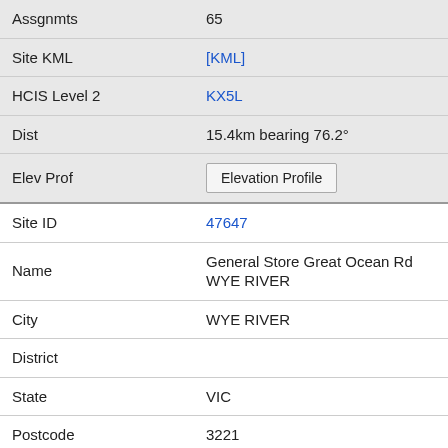| Field | Value |
| --- | --- |
| Assgnmts | 65 |
| Site KML | [KML] |
| HCIS Level 2 | KX5L |
| Dist | 15.4km bearing 76.2° |
| Elev Prof | Elevation Profile |
| Site ID | 47647 |
| Name | General Store Great Ocean Rd WYE RIVER |
| City | WYE RIVER |
| District |  |
| State | VIC |
| Postcode | 3221 |
| Assgnmts |  |
| Site KML | [KML] |
| HCIS Level 2 | KX5L |
| Dist | 15.4km bearing 73.2° |
| Elev Prof | Elevation Profile |
| Site ID | 45669 |